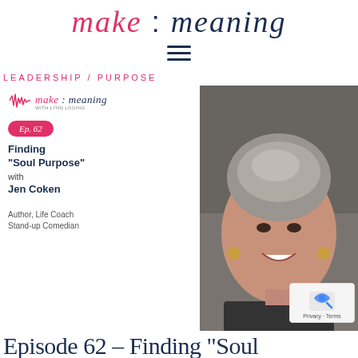make : meaning
[Figure (logo): make:meaning podcast logo with waveform icon, pink and dark navy text, italic serif font]
LEADERSHIP / PURPOSE
[Figure (photo): Podcast episode card and photo: Episode 62 - Finding 'Soul Purpose' with Jen Coken. Woman with short grey hair smiling, wearing hoop earrings and patterned top. Card shows make:meaning logo, Ep. 62 badge, title text, and byline 'Author, Life Coach Stand-up Comedian']
Episode 62 – Finding "Soul